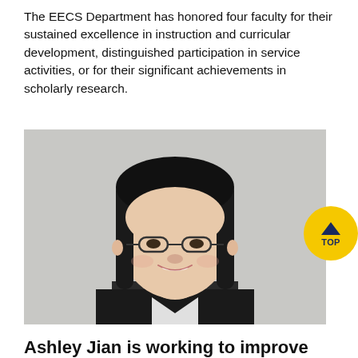The EECS Department has honored four faculty for their sustained excellence in instruction and curricular development, distinguished participation in service activities, or for their significant achievements in scholarly research.
[Figure (photo): Professional headshot of Ashley Jian, a young woman with black shoulder-length hair and glasses, smiling, wearing a dark blazer, against a light gray background.]
Ashley Jian is working to improve